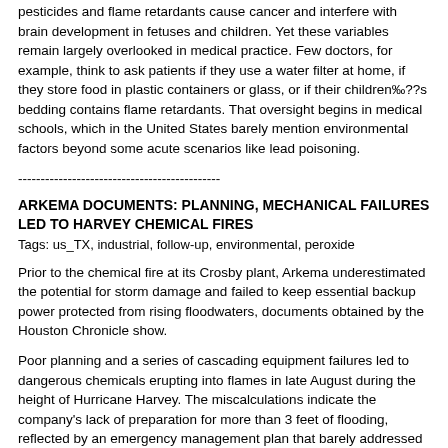pesticides and flame retardants cause cancer and interfere with brain development in fetuses and children. Yet these variables remain largely overlooked in medical practice. Few doctors, for example, think to ask patients if they use a water filter at home, if they store food in plastic containers or glass, or if their children‰??s bedding contains flame retardants. That oversight begins in medical schools, which in the United States barely mention environmental factors beyond some acute scenarios like lead poisoning.
---------------------------------------------
ARKEMA DOCUMENTS: PLANNING, MECHANICAL FAILURES LED TO HARVEY CHEMICAL FIRES
Tags: us_TX, industrial, follow-up, environmental, peroxide
Prior to the chemical fire at its Crosby plant, Arkema underestimated the potential for storm damage and failed to keep essential backup power protected from rising floodwaters, documents obtained by the Houston Chronicle show.
Poor planning and a series of cascading equipment failures led to dangerous chemicals erupting into flames in late August during the height of Hurricane Harvey. The miscalculations indicate the company’s lack of preparation for more than 3 feet of flooding, reflected by an emergency management plan that barely addressed how to handle such a storm.
Those judgments led to the burning of nine trailers containing the company’s stockpile of organic peroxides. The resulting inferno exposed first responders and local residents to dangerous fumes and pulled emergency staffers away from hurricane recovery at a critical time.
Arkema officials argue that unprecedented floods made it impossible to prevent its chemicals from catching fire. The site had only seen up to 2 feet of flooding in the past, company officials said.